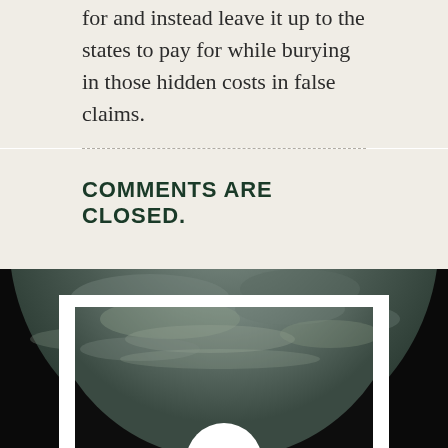for and instead leave it up to the states to pay for while burying in those hidden costs in false claims.
COMMENTS ARE CLOSED.
[Figure (photo): A dark space background with a large rocky planet or moon partially visible. In the foreground is a white-framed image showing a close-up of the same rocky celestial body surface, and a partial white circular logo or graphic at the bottom center.]